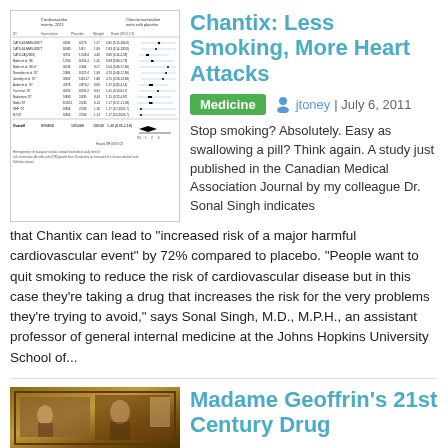[Figure (other): Forest plot / meta-analysis chart showing Chantix cardiovascular risk data from a study]
Chantix: Less Smoking, More Heart Attacks
Medicine  jtoney | July 6, 2011
Stop smoking? Absolutely. Easy as swallowing a pill? Think again. A study just published in the Canadian Medical Association Journal by my colleague Dr. Sonal Singh indicates that Chantix can lead to "increased risk of a major harmful cardiovascular event" by 72% compared to placebo. "People want to quit smoking to reduce the risk of cardiovascular disease but in this case they're taking a drug that increases the risk for the very problems they're trying to avoid," says Sonal Singh, M.D., M.P.H., an assistant professor of general internal medicine at the Johns Hopkins University School of...
[Figure (photo): Painting or historical image, warm brownish tones, appears to show an interior scene]
Madame Geoffrin's 21st Century Drug